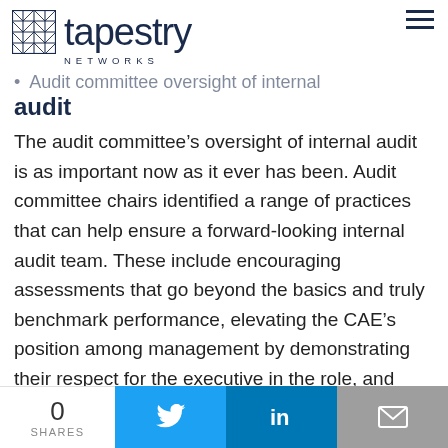Tapestry Networks
Audit committee oversight of internal
audit
The audit committee's oversight of internal audit is as important now as it ever has been. Audit committee chairs identified a range of practices that can help ensure a forward-looking internal audit team. These include encouraging assessments that go beyond the basics and truly benchmark performance, elevating the CAE's position among management by demonstrating their respect for the executive in the role, and ensuring that
0 SHARES